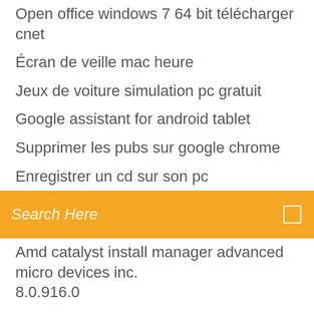Open office windows 7 64 bit télécharger cnet
Écran de veille mac heure
Jeux de voiture simulation pc gratuit
Google assistant for android tablet
Supprimer les pubs sur google chrome
Enregistrer un cd sur son pc
Search Here
Amd catalyst install manager advanced micro devices inc. 8.0.916.0
Partager un dossier entre deux pc windows 10
Hdd low level format tool 4.40 unable to lock device
Microsoft internet explorer 10 for android
Sony vegas pro 15 01.net
Comment voir les story public sur snapchat
360 security antivirus gratuit
Jeu de moto racing
Raccourci clavier retour bureau windows 10
Comment ameliorer les performances graphique de son pc